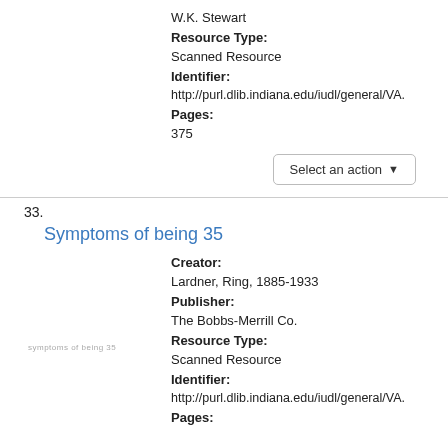W.K. Stewart
Resource Type: Scanned Resource
Identifier: http://purl.dlib.indiana.edu/iudl/general/VA...
Pages: 375
Select an action
33.
Symptoms of being 35
Creator: Lardner, Ring, 1885-1933
Publisher: The Bobbs-Merrill Co.
Resource Type: Scanned Resource
Identifier: http://purl.dlib.indiana.edu/iudl/general/VA...
Pages: